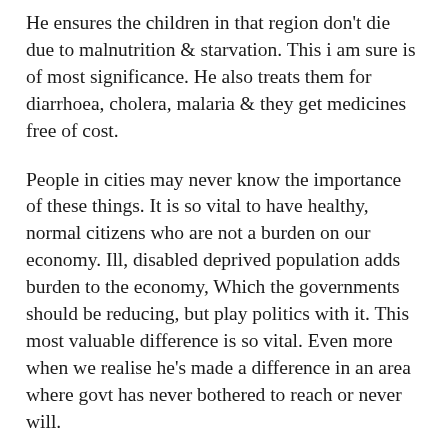He ensures the children in that region don't die due to malnutrition & starvation. This i am sure is of most significance. He also treats them for diarrhoea, cholera, malaria & they get medicines free of cost.
People in cities may never know the importance of these things. It is so vital to have healthy, normal citizens who are not a burden on our economy. Ill, disabled deprived population adds burden to the economy, Which the governments should be reducing, but play politics with it. This most valuable difference is so vital. Even more when we realise he's made a difference in an area where govt has never bothered to reach or never will.
In the interim period. The Communist Party of India (Maoist) reached in these remote, tribal areas of India. The cadre & workers mostly educated, rich, who left their comforts & warm environments came to dedicate their lives to the betterment of these poor tribals. Well they never will get medals for sure. Yet